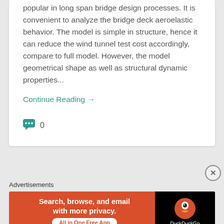popular in long span bridge design processes. It is convenient to analyze the bridge deck aeroelastic behavior. The model is simple in structure, hence it can reduce the wind tunnel test cost accordingly, compare to full model. However, the model geometrical shape as well as structural dynamic properties...
Continue Reading →
0
Advertisements
[Figure (other): DuckDuckGo advertisement banner: orange background with text 'Search, browse, and email with more privacy. All in One Free App' on the left and DuckDuckGo logo on black background on the right.]